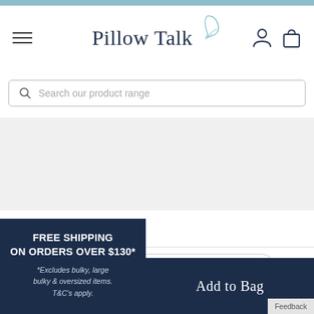Pillow Talk
Search our product range
BACK TO TOP ^
FREE SHIPPING ON ORDERS OVER $130*
*Excludes bulky, large bulky & oversized items. T&C's apply.
Add to Bag
Feedback